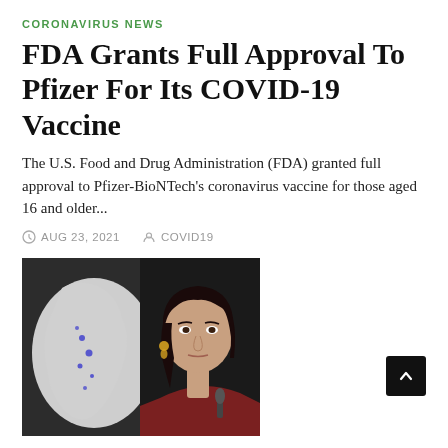CORONAVIRUS NEWS
FDA Grants Full Approval To Pfizer For Its COVID-19 Vaccine
The U.S. Food and Drug Administration (FDA) granted full approval to Pfizer-BioNTech's coronavirus vaccine for those aged 16 and older...
AUG 23, 2021   COVID19
[Figure (photo): Woman with dark hair wearing a dark red top, looking serious, with a map showing blue dots in the background]
CORONAVIRUS NEWS
Coronavirus New Zealand: Jacinda Ardern Extends Auckland Covid...